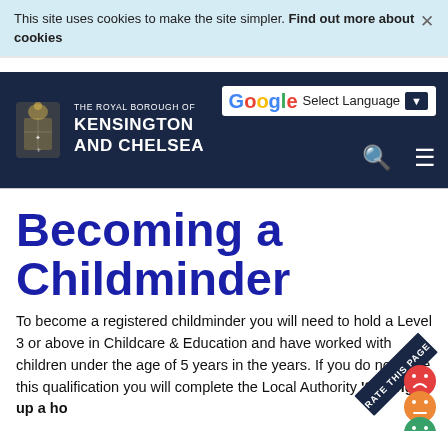This site uses cookies to make the site simpler. Find out more about cookies
[Figure (logo): Royal Borough of Kensington and Chelsea logo with coat of arms crest and Google Translate button in navigation bar]
Becoming a Childminder
To become a registered childminder you will need to hold a Level 3 or above in Childcare & Education and have worked with children under the age of 5 years in the years. If you do not have this qualification you will complete the Local Authority 'Setting up a ho...